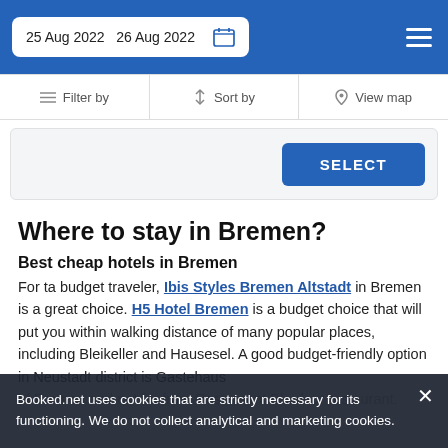25 Aug 2022  26 Aug 2022
Filter by   Sort by   View map
[Figure (screenshot): SELECT button on light gray card area]
Where to stay in Bremen?
Best cheap hotels in Bremen
For ta budget traveler, Ibis Styles Bremen Altstadt in Bremen is a great choice. H5 Hotel Bremen is a budget choice that will put you within walking distance of many popular places, including Bleikeller and Hausesel. A good budget-friendly option in Neustadt district is Gastehaus … of Bremen and not far from Restaurant Blaufeur restaurant.
Booked.net uses cookies that are strictly necessary for its functioning. We do not collect analytical and marketing cookies.